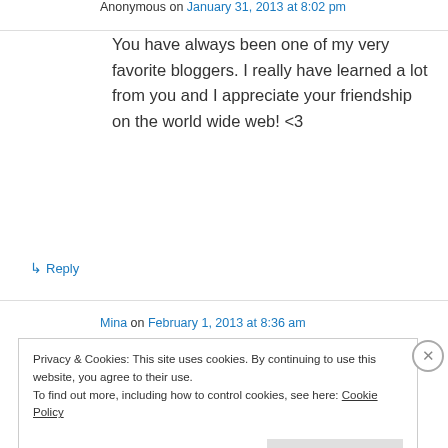Anonymous on January 31, 2013 at 8:02 pm
You have always been one of my very favorite bloggers. I really have learned a lot from you and I appreciate your friendship on the world wide web! <3
↳ Reply
Mina on February 1, 2013 at 8:36 am
Privacy & Cookies: This site uses cookies. By continuing to use this website, you agree to their use.
To find out more, including how to control cookies, see here: Cookie Policy
Close and accept